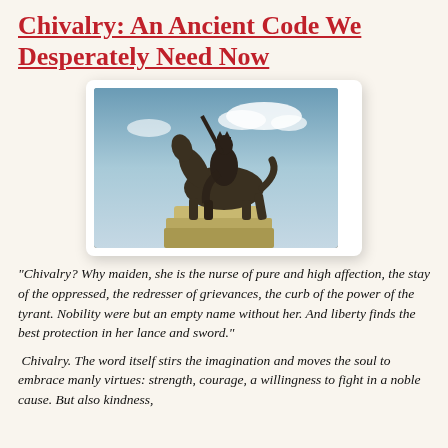Chivalry: An Ancient Code We Desperately Need Now
[Figure (photo): Bronze equestrian statue of a medieval knight or king on horseback, photographed from below against a blue sky with white clouds. The statue sits atop a stone pedestal.]
“Chivalry?  Why maiden, she is the nurse of pure and high affection, the stay of the oppressed, the redresser of grievances, the curb of the power of the tyrant.  Nobility were but an empty name without her.  And liberty finds the best protection in her lance and sword.”
Chivalry. The word itself stirs the imagination and moves the soul to embrace manly virtues: strength, courage, a willingness to fight in a noble cause. But also kindness,